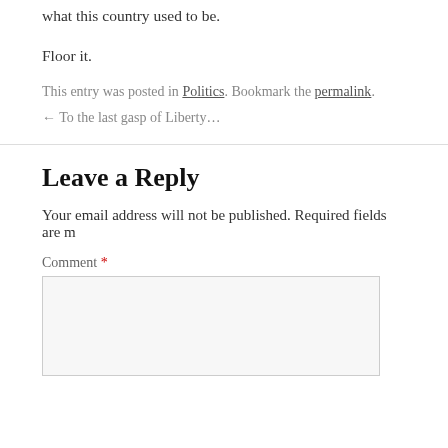what this country used to be.
Floor it.
This entry was posted in Politics. Bookmark the permalink.
← To the last gasp of Liberty…
Leave a Reply
Your email address will not be published. Required fields are m
Comment *